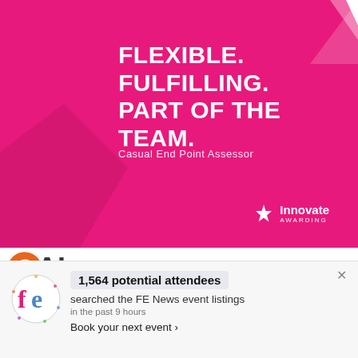[Figure (illustration): Pink advertisement banner for Innovate Awarding showing bold white text 'FLEXIBLE. FULFILLING. PART OF THE TEAM.' and subtitle 'Casual End Point Assessor' with Innovate Awarding logo, white chevron shape top-right, darker pink shape bottom-left]
[Figure (logo): OAI logo with orange circle arc and dark letter A and dark I, followed by italic blue bold text 'KEEPING APPRENTICES']
We use cookies on our website to give you the most relevant experience by remembering your preferences and repeat visits. By clicking “Accept”, you consent to
[Figure (infographic): FE News notification bar showing FE logo (colorful letters f and e in a circle), bold text '1,564 potential attendees', description 'searched the FE News event listings', time 'in the past 9 hours', and link 'Book your next event ›']